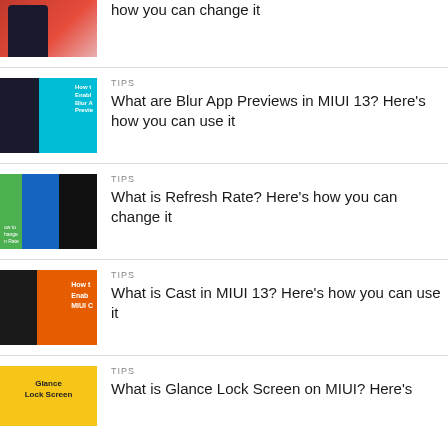how you can change it
TIPS
What are Blur App Previews in MIUI 13? Here's how you can use it
TIPS
What is Refresh Rate? Here's how you can change it
TIPS
What is Cast in MIUI 13? Here's how you can use it
TIPS
What is Glance Lock Screen on MIUI? Here's how you can enable it, its alternatives